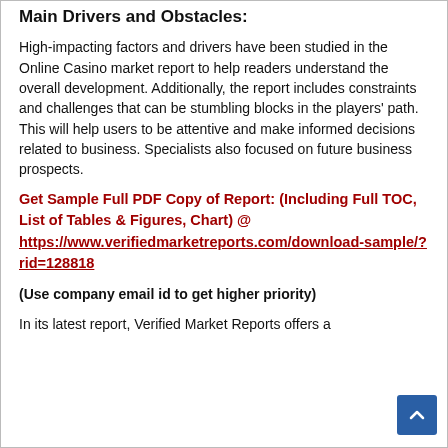Main Drivers and Obstacles:
High-impacting factors and drivers have been studied in the Online Casino market report to help readers understand the overall development. Additionally, the report includes constraints and challenges that can be stumbling blocks in the players’ path. This will help users to be attentive and make informed decisions related to business. Specialists also focused on future business prospects.
Get Sample Full PDF Copy of Report: (Including Full TOC, List of Tables & Figures, Chart) @ https://www.verifiedmarketreports.com/download-sample/?rid=128818
(Use company email id to get higher priority)
In its latest report, Verified Market Reports offers a